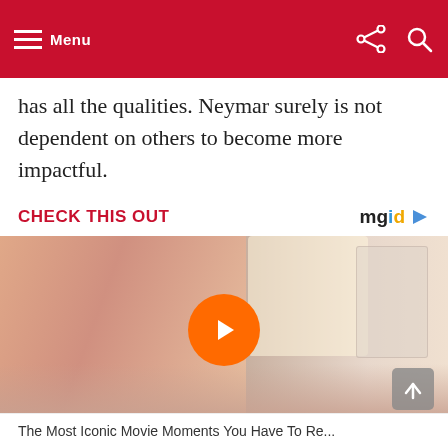Menu
has all the qualities. Neymar surely is not dependent on others to become more impactful.
CHECK THIS OUT
[Figure (screenshot): Video thumbnail showing a movie scene with a woman in a pink outfit and a man in a blue shirt on a pink floor, with a large orange play button overlay. MGID logo visible in top right corner of the content block.]
The Most Iconic Movie Moments You Have To Remember